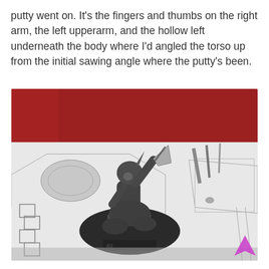putty went on. It's the fingers and thumbs on the right arm, the left upperarm, and the hollow left underneath the body where I'd angled the torso up from the initial sawing angle where the putty's been.
[Figure (photo): A metal miniature figurine (appears to be an orc or troll warrior holding an axe) mounted on a dark round base, placed on top of printed game board tiles/hex map paper. Modelling tools and small pieces are visible in the background. A small magenta/purple arrow icon appears in the bottom-right corner of the image.]